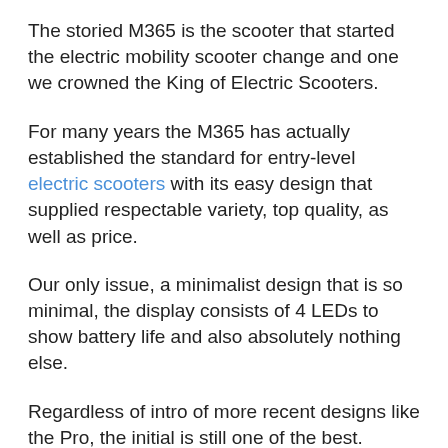The storied M365 is the scooter that started the electric mobility scooter change and one we crowned the King of Electric Scooters.
For many years the M365 has actually established the standard for entry-level electric scooters with its easy design that supplied respectable variety, top quality, as well as price.
Our only issue, a minimalist design that is so minimal, the display consists of 4 LEDs to show battery life and also absolutely nothing else.
Regardless of intro of more recent designs like the Pro, the initial is still one of the best.
During the height of the pandemic, its cost from significant merchants varied all over the place as